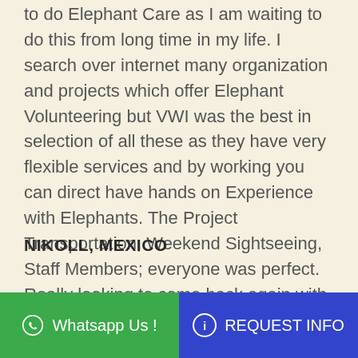to do Elephant Care as I am waiting to do this from long time in my life. I search over internet many organization and projects which offer Elephant Volunteering but VWI was the best in selection of all these as they have very flexible services and by working you can direct have hands on Experience with Elephants. The Project Transportation, Weekend Sightseeing, Staff Members; everyone was perfect. Really looking to come back again with my friends and family.
NIKOLL, MEXICO
Whatsapp Us !
REQUEST INFO